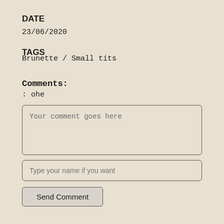DATE
23/06/2020
TAGS
Brunette  /  Small tits
Comments:
: ohe
Your comment goes here
Type your name if you want
Send Comment